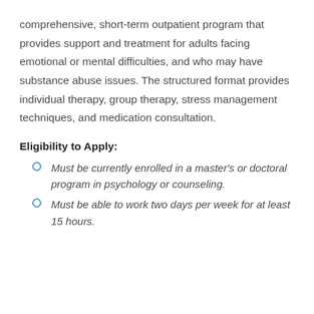comprehensive, short-term outpatient program that provides support and treatment for adults facing emotional or mental difficulties, and who may have substance abuse issues. The structured format provides individual therapy, group therapy, stress management techniques, and medication consultation.
Eligibility to Apply:
Must be currently enrolled in a master's or doctoral program in psychology or counseling.
Must be able to work two days per week for at least 15 hours.